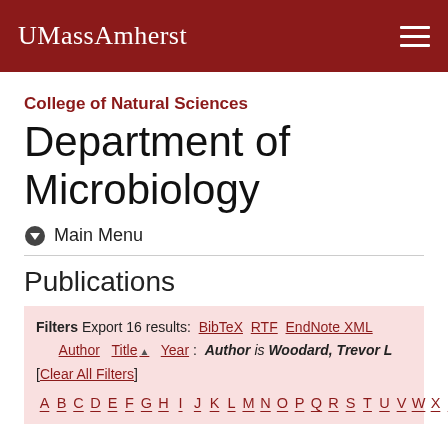UMassAmherst
College of Natural Sciences
Department of Microbiology
Main Menu
Publications
Filters Export 16 results: BibTeX RTF EndNote XML Author Title Year : Author is Woodard, Trevor L [Clear All Filters]
A B C D E F G H I J K L M N O P Q R S T U V W X Y Z